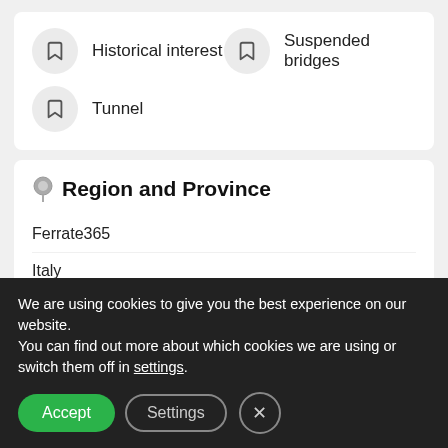Historical interest
Suspended bridges
Tunnel
Region and Province
Ferrate365
Italy
Piedmont
Turin
Via Ferrata of Chaberton
We are using cookies to give you the best experience on our website.
You can find out more about which cookies we are using or switch them off in settings.
Accept   Settings   ×